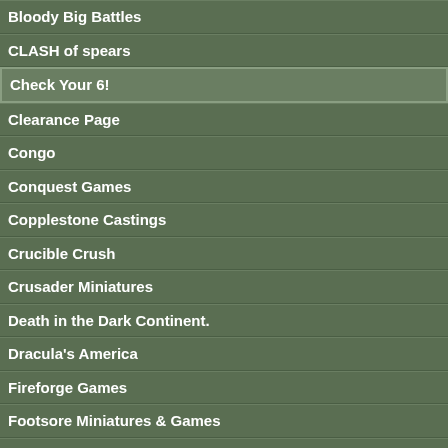Bloody Big Battles
CLASH of spears
Check Your 6!
Clearance Page
Congo
Conquest Games
Copplestone Castings
Crucible Crush
Crusader Miniatures
Death in the Dark Continent.
Dracula's America
Fireforge Games
Footsore Miniatures & Games
Frostgrave
Frostgrave: Ghost Archipelago